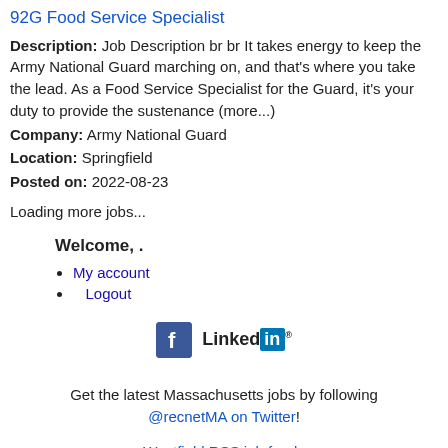92G Food Service Specialist
Description: Job Description br br It takes energy to keep the Army National Guard marching on, and that's where you take the lead. As a Food Service Specialist for the Guard, it's your duty to provide the sustenance (more...)
Company: Army National Guard
Location: Springfield
Posted on: 2022-08-23
Loading more jobs...
Welcome, .
My account
Logout
[Figure (logo): Facebook and LinkedIn social media icons]
Get the latest Massachusetts jobs by following @recnetMA on Twitter!
Westfield RSS job feeds